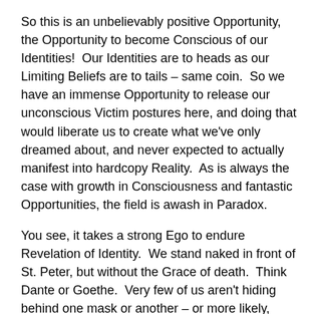So this is an unbelievably positive Opportunity, the Opportunity to become Conscious of our Identities!  Our Identities are to heads as our Limiting Beliefs are to tails – same coin.  So we have an immense Opportunity to release our unconscious Victim postures here, and doing that would liberate us to create what we've only dreamed about, and never expected to actually manifest into hardcopy Reality.  As is always the case with growth in Consciousness and fantastic Opportunities, the field is awash in Paradox.
You see, it takes a strong Ego to endure Revelation of Identity.  We stand naked in front of St. Peter, but without the Grace of death.  Think Dante or Goethe.  Very few of us aren't hiding behind one mask or another – or more likely, many.  But the stronger the Ego, the less likely that